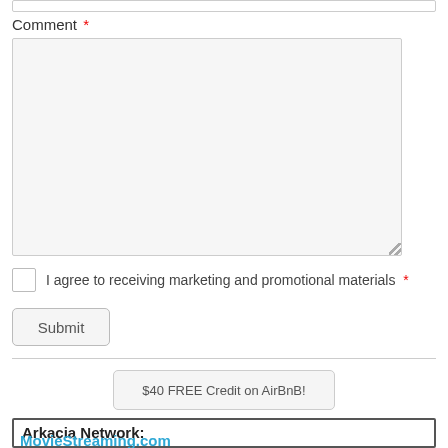Comment *
[Figure (other): Large empty textarea input field for comment entry with light gray background and resize handle]
I agree to receiving marketing and promotional materials *
Submit
$40 FREE Credit on AirBnB!
Arkacia Network:
MovieStreaming.com